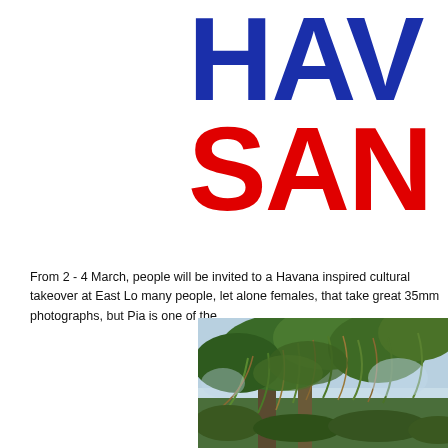HAVA SAN
From 2 - 4 March, people will be invited to a Havana inspired cultural takeover at East Lo many people, let alone females, that take great 35mm photographs, but Pia is one of the
[Figure (photo): Photograph of tropical vegetation — dense palm and leafy tree branches against a pale blue sky]